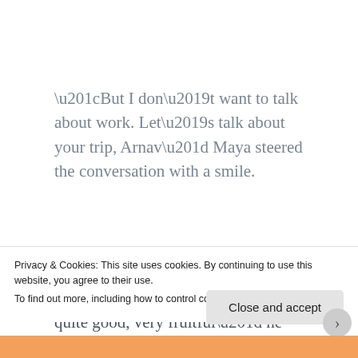“But I don’t want to talk about work. Let’s talk about your trip, Arnav” Maya steered the conversation with a smile.
Raising a quizzical brow, “It was quite good, very fruitful” he replied. In more ways than one. He looked away from Maya’s persistent gaze. It was a
Privacy & Cookies: This site uses cookies. By continuing to use this website, you agree to their use.
To find out more, including how to control cookies, see here: Cookie Policy
Close and accept